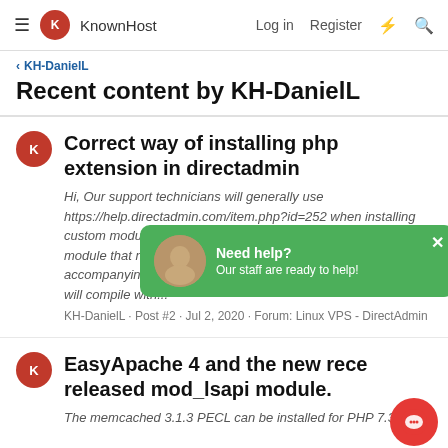KnownHost | Log in | Register
< KH-DanielL
Recent content by KH-DanielL
Correct way of installing php extension in directadmin
Hi, Our support technicians will generally use https://help.directadmin.com/item.php?id=252 when installing custom modules on DirectAdmin servers. Depending on the module that needs to be added, it will usually need accompanying "devel" packages installed via yum before PHP will compile with...
KH-DanielL · Post #2 · Jul 2, 2020 · Forum: Linux VPS - DirectAdmin
[Figure (screenshot): Chat support overlay popup: green background with person avatar, text 'Need help?' and 'Our staff are ready to help!' with close X button]
EasyApache 4 and the new recently released mod_lsapi module.
The memcached 3.1.3 PECL can be installed for PHP 7.3,